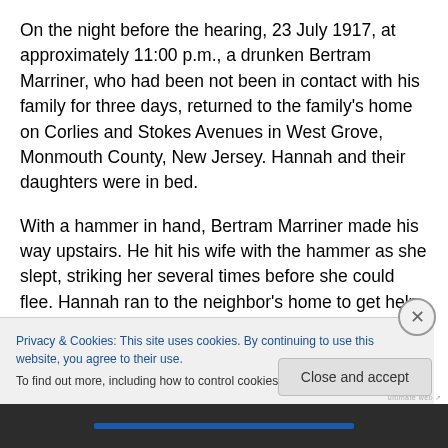On the night before the hearing, 23 July 1917, at approximately 11:00 p.m., a drunken Bertram Marriner, who had been not been in contact with his family for three days, returned to the family's home on Corlies and Stokes Avenues in West Grove, Monmouth County, New Jersey. Hannah and their daughters were in bed.
With a hammer in hand, Bertram Marriner made his way upstairs. He hit his wife with the hammer as she slept, striking her several times before she could flee. Hannah ran to the neighbor's home to get help. Bertram then went
Privacy & Cookies: This site uses cookies. By continuing to use this website, you agree to their use.
To find out more, including how to control cookies, see here: Cookie Policy